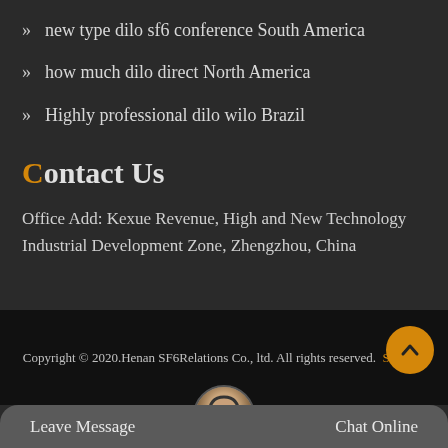new type dilo sf6 conference South America
how much dilo direct North America
Highly professional dilo wilo Brazil
Contact Us
Office Add: Kexue Revenue, High and New Technology Industrial Development Zone, Zhengzhou, China
Copyright © 2020.Henan SF6Relations Co., ltd. All rights reserved.  Sitemap
Leave Message
Chat Online